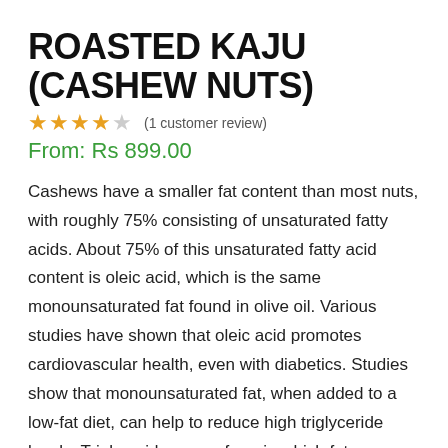ROASTED KAJU (CASHEW NUTS)
★★★★☆ (1 customer review)
From: Rs 899.00
Cashews have a smaller fat content than most nuts, with roughly 75% consisting of unsaturated fatty acids. About 75% of this unsaturated fatty acid content is oleic acid, which is the same monounsaturated fat found in olive oil. Various studies have shown that oleic acid promotes cardiovascular health, even with diabetics. Studies show that monounsaturated fat, when added to a low-fat diet, can help to reduce high triglyceride levels. Triglycerides are a form in which fats are carried in the blood.